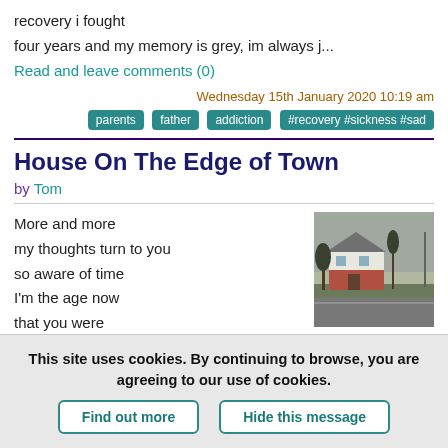recovery i fought
four years and my memory is grey, im always j...
Read and leave comments (0)
Wednesday 15th January 2020 10:19 am
parents  father  addiction  #recovery #sickness #sad
House On The Edge of Town
by Tom
More and more
my thoughts turn to you
so aware of time
I'm the age now
that you were
when the pair of you parted
[Figure (photo): Photo of a house on the edge of town — a white and red brick building with bare trees and a road in the foreground, grey sky overhead]
This site uses cookies. By continuing to browse, you are agreeing to our use of cookies.
Find out more   Hide this message